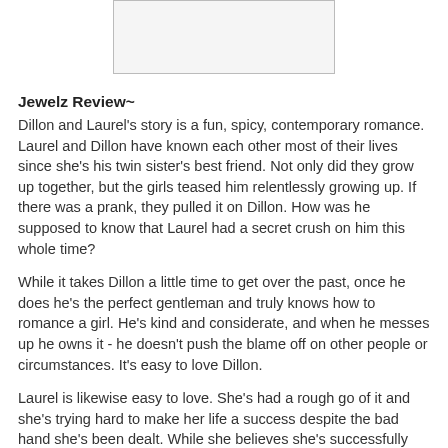[Figure (other): Book cover image placeholder (grey rectangle with border)]
Jewelz Review~
Dillon and Laurel's story is a fun, spicy, contemporary romance. Laurel and Dillon have known each other most of their lives since she's his twin sister's best friend. Not only did they grow up together, but the girls teased him relentlessly growing up. If there was a prank, they pulled it on Dillon. How was he supposed to know that Laurel had a secret crush on him this whole time?
While it takes Dillon a little time to get over the past, once he does he's the perfect gentleman and truly knows how to romance a girl. He's kind and considerate, and when he messes up he owns it - he doesn't push the blame off on other people or circumstances. It's easy to love Dillon.
Laurel is likewise easy to love. She's had a rough go of it and she's trying hard to make her life a success despite the bad hand she's been dealt. While she believes she's successfully concealed her feelings for Dillon, she can't seem to bury